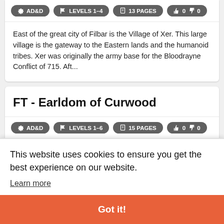AD&D | LEVELS 1-4 | 13 PAGES | 0 thumbs up 0 thumbs down
East of the great city of Filbar is the Village of Xer. This large village is the gateway to the Eastern lands and the humanoid tribes. Xer was originally the army base for the Bloodrayne Conflict of 715. Aft...
FT - Earldom of Curwood
AD&D | LEVELS 1-6 | 15 PAGES | 0 thumbs up 0 thumbs down
of
This website uses cookies to ensure you get the best experience on our website.
Learn more
Got it!